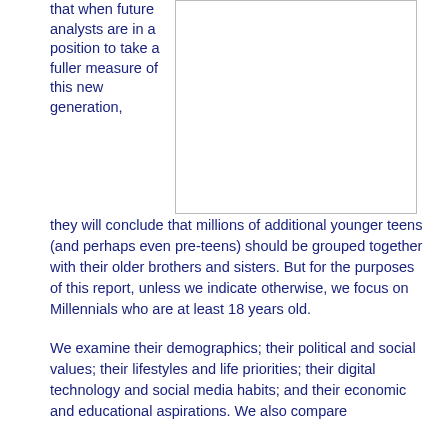that when future analysts are in a position to take a fuller measure of this new generation, they will conclude that millions of additional younger teens (and perhaps even pre-teens) should be grouped together with their older brothers and sisters. But for the purposes of this report, unless we indicate otherwise, we focus on Millennials who are at least 18 years old.
[Figure (other): Empty white box with light gray border, likely a placeholder for an image or chart.]
We examine their demographics; their political and social values; their lifestyles and life priorities; their digital technology and social media habits; and their economic and educational aspirations. We also compare...